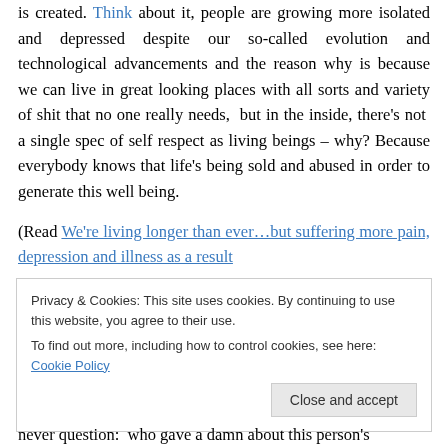is created. Think about it, people are growing more isolated and depressed despite our so-called evolution and technological advancements and the reason why is because we can live in great looking places with all sorts and variety of shit that no one really needs,  but in the inside, there's not  a single spec of self respect as living beings – why? Because everybody knows that life's being sold and abused in order to generate this well being.
(Read We're living longer than ever…but suffering more pain, depression and illness as a result
Privacy & Cookies: This site uses cookies. By continuing to use this website, you agree to their use.
To find out more, including how to control cookies, see here: Cookie Policy
never question:  who gave a damn about this person's